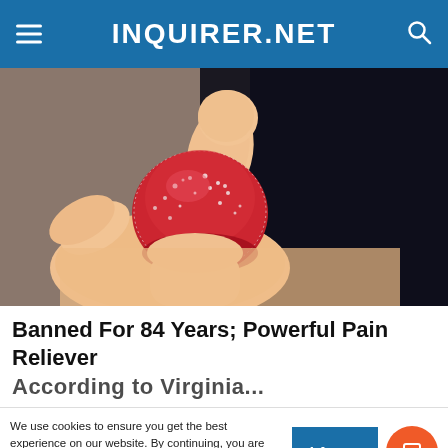INQUIRER.NET
[Figure (photo): Close-up of a hand holding a red sugar-coated gummy candy against a dark background]
Banned For 84 Years; Powerful Pain Reliever
We use cookies to ensure you get the best experience on our website. By continuing, you are agreeing to our use of cookies. To find out more, please click this link.